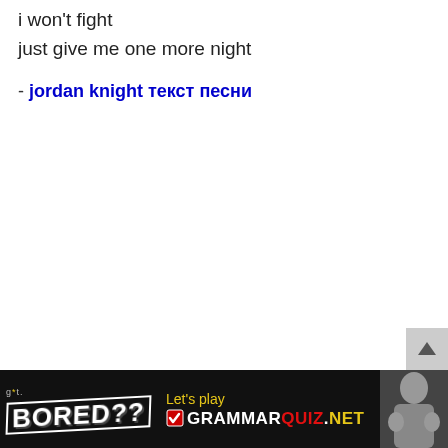i won't fight
just give me one more night
- jordan knight текст песни
[Figure (other): Scroll-to-top button arrow in gray box]
[Figure (other): Advertisement banner: Got Bored?? Let's play GrammarQuiz.net with person photo on right]